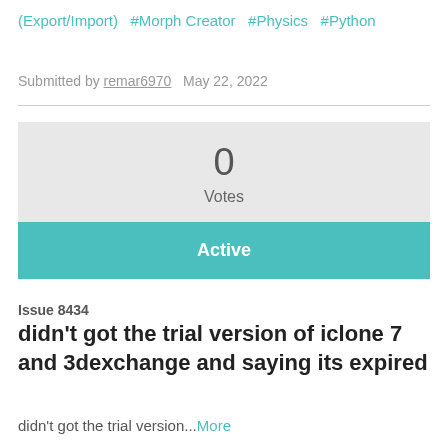(Export/Import)  #Morph Creator  #Physics  #Python
Submitted by remar6970  May 22, 2022
[Figure (infographic): Vote counter box showing 0 Votes with a teal Active button below]
Issue 8434
didn't got the trial version of iclone 7 and 3dexchange and saying its expired
didn't got the trial version...More